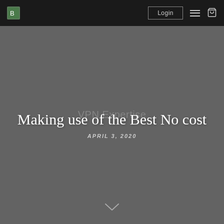Login
Making use of the Best No cost
VPN Expertise
APRIL 3, 2020